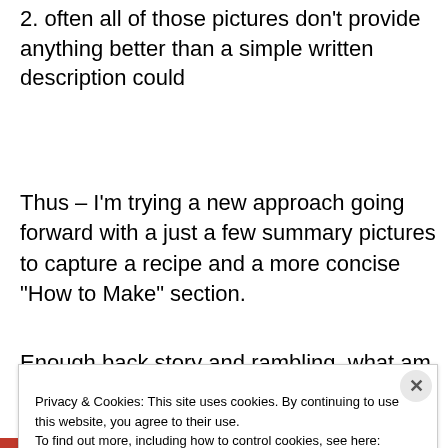2. often all of those pictures don't provide anything better than a simple written description could
Thus – I'm trying a new approach going forward with a just a few summary pictures to capture a recipe and a more concise “How to Make” section.
Enough back story and rambling, what am I bringing to the blog today? This is a recreation of a “Twisted Turkey” wrap
Privacy & Cookies: This site uses cookies. By continuing to use this website, you agree to their use.
To find out more, including how to control cookies, see here: Cookie Policy
Close and accept